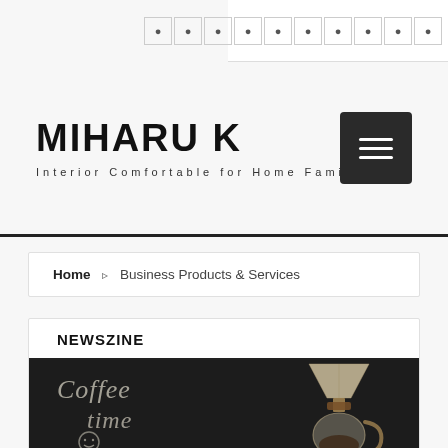Navigation icons row
MIHARU K
Interior Comfortable for Home Family
Home » Business Products & Services
NEWSZINE
[Figure (photo): Photo of a chalkboard with 'Coffee time' written in chalk with a smiley face, and a hand holding a Chemex coffee maker in the foreground]